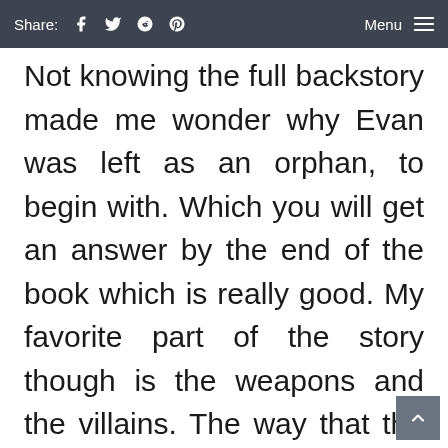Share: [facebook] [twitter] [reddit] [pinterest]   Menu ≡
Not knowing the full backstory made me wonder why Evan was left as an orphan, to begin with. Which you will get an answer by the end of the book which is really good. My favorite part of the story though is the weapons and the villains. The way that the drama unfolded made this enjoyable. I wish that some of